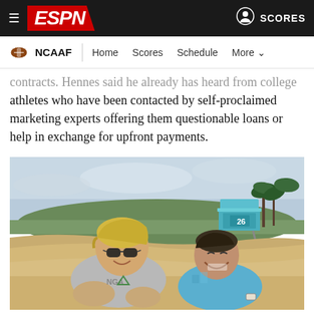ESPN NCAAF — Home | Scores | Schedule | More
contracts. Hennes said he already has heard from college athletes who have been contacted by self-proclaimed marketing experts offering them questionable loans or help in exchange for upfront payments.
[Figure (photo): Two men sitting on a beach, smiling. Left man wears sunglasses and a gray shirt with 'NGA' logo; right man wears a teal/blue checkered shirt. Blue lifeguard tower numbered 26 visible in background with palm trees and sandy dunes. Overcast sky.]
Jake Olson and Daniel Hennes used their unique college experience to build an